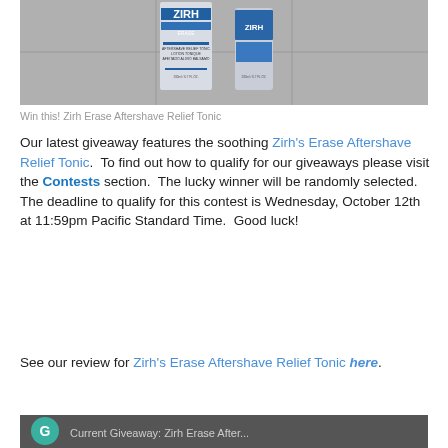[Figure (photo): Two Zirh Erase Aftershave Relief Tonic bottles on a tiled surface]
Win this! Zirh Erase Aftershave Relief Tonic
Our latest giveaway features the soothing Zirh's Erase Aftershave Relief Tonic.  To find out how to qualify for our giveaways please visit the Contests section.  The lucky winner will be randomly selected.  The deadline to qualify for this contest is Wednesday, October 12th at 11:59pm Pacific Standard Time.  Good luck!
See our review for Zirh's Erase Aftershave Relief Tonic here.
[Figure (screenshot): Current Giveaway Zirh Erase After... thumbnail/banner at the bottom]